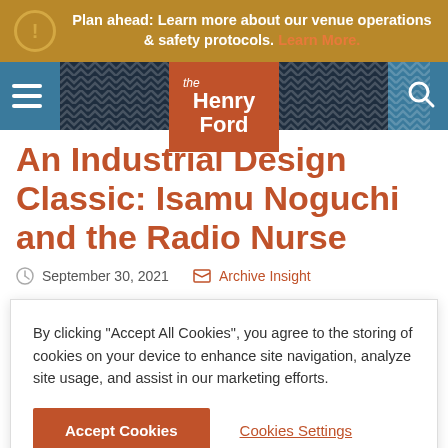Plan ahead: Learn more about our venue operations & safety protocols. Learn More.
[Figure (logo): The Henry Ford museum logo — orange rectangle with 'the Henry Ford' text in white]
An Industrial Design Classic: Isamu Noguchi and the Radio Nurse
September 30, 2021   Archive Insight
By clicking "Accept All Cookies", you agree to the storing of cookies on your device to enhance site navigation, analyze site usage, and assist in our marketing efforts.
Accept Cookies   Cookies Settings